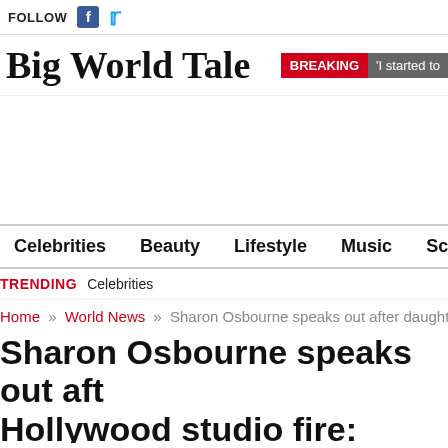FOLLOW
Big World Tale
BREAKING 'I started to
Celebrities  Beauty  Lifestyle  Music  Science  Travel
TRENDING  Celebrities
Home » World News » Sharon Osbourne speaks out after daughter Aime
Sharon Osbourne speaks out aft Hollywood studio fire: 'Beyond h